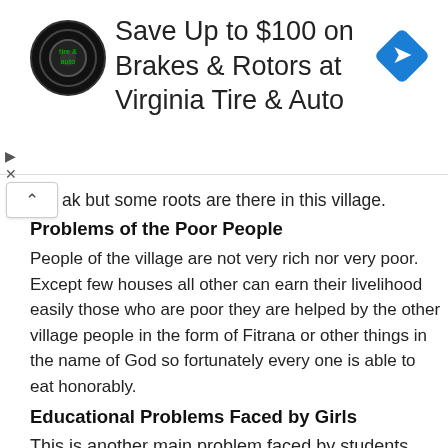[Figure (other): Advertisement banner: Virginia Tire & Auto logo on left, text 'Save Up to $100 on Brakes & Rotors at Virginia Tire & Auto', blue diamond navigation icon on right]
ak but some roots are there in this village.
Problems of the Poor People
People of the village are not very rich nor very poor. Except few houses all other can earn their livelihood easily those who are poor they are helped by the other village people in the form of Fitrana or other things in the name of God so fortunately every one is able to eat honorably.
Educational Problems Faced by Girls
This is another main problem faced by students especially by Girls as there is no institute after F.A (Inter) degree so  the girls have to face great hurdle in their career so most of them stop their education because villagers does not allow their girls to go away from their homes,so most of the girls are underinter if other want to carry on their education